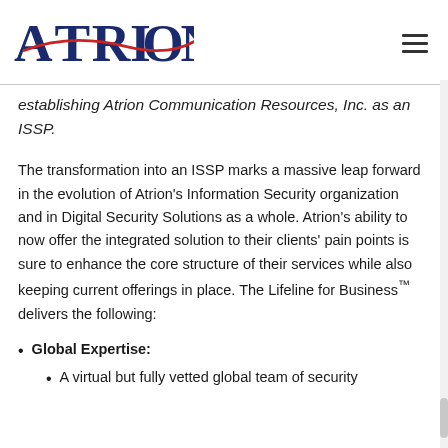[Figure (logo): Atrion logo with dark blue serif text and red swoosh accent]
establishing Atrion Communication Resources, Inc. as an ISSP.
The transformation into an ISSP marks a massive leap forward in the evolution of Atrion's Information Security organization and in Digital Security Solutions as a whole. Atrion's ability to now offer the integrated solution to their clients' pain points is sure to enhance the core structure of their services while also keeping current offerings in place. The Lifeline for Business™ delivers the following:
Global Expertise:
A virtual but fully vetted global team of security